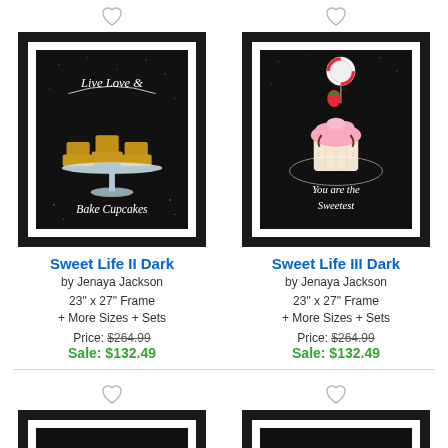[Figure (photo): Framed art print 'Sweet Life II Dark' showing cupcakes on a cake stand with text 'Live Love & Bake Cupcakes' on black chalkboard background]
Sweet Life II Dark
by Jenaya Jackson
23" x 27" Frame
+ More Sizes + Sets
Price: $264.99
Sale: $132.49
[Figure (photo): Framed art print 'Sweet Life III Dark' showing a cupcake with strawberry and lollipop with text 'You are the Sweetest' on black chalkboard background]
Sweet Life III Dark
by Jenaya Jackson
23" x 27" Frame
+ More Sizes + Sets
Price: $264.99
Sale: $132.49